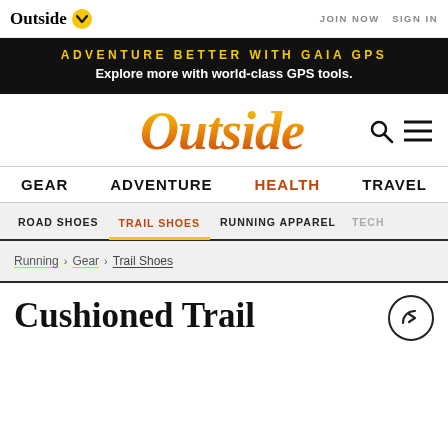Outside | JOIN NOW  SIGN IN
ADVENTURE BETTER WITH GAIA GPS — Explore more with world-class GPS tools.
[Figure (logo): Outside magazine logo in gold/orange italic serif font]
GEAR  ADVENTURE  HEALTH  TRAVEL
ROAD SHOES  TRAIL SHOES  RUNNING APPAREL  TECH
Running > Gear > Trail Shoes
Cushioned Trail